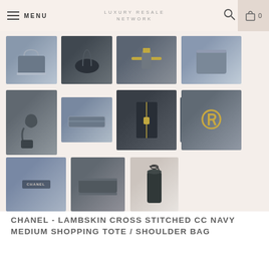MENU | LUXURY RESALE NETWORK | Search | Cart 0
[Figure (photo): Grid of 11 product thumbnail photos showing a Chanel navy lambskin cross stitched shopping tote bag from multiple angles]
CHANEL - LAMBSKIN CROSS STITCHED CC NAVY MEDIUM SHOPPING TOTE / SHOULDER BAG
$2,499.00
ADD TO CART